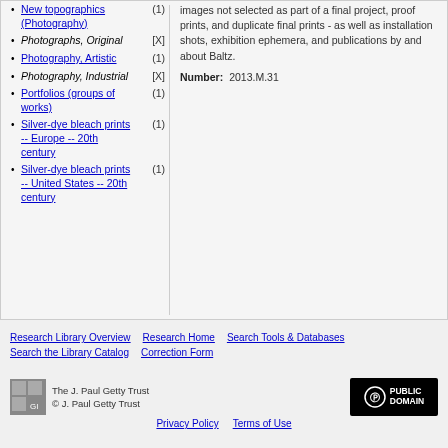New topographics (Photography) (1)
Photographs, Original [X]
Photography, Artistic (1)
Photography, Industrial [X]
Portfolios (groups of works) (1)
Silver-dye bleach prints -- Europe -- 20th century (1)
Silver-dye bleach prints -- United States -- 20th century (1)
images not selected as part of a final project, proof prints, and duplicate final prints - as well as installation shots, exhibition ephemera, and publications by and about Baltz.
Number: 2013.M.31
Research Library Overview | Research Home | Search Tools & Databases | Search the Library Catalog | Correction Form
The J. Paul Getty Trust © J. Paul Getty Trust | Privacy Policy | Terms of Use